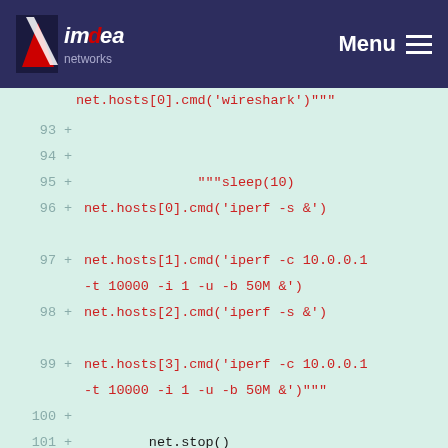IMDEA Networks — Menu
net.hosts[0].cmd('wireshark')"""
93 +
94 +
95 +   """sleep(10)
96 +   net.hosts[0].cmd('iperf -s &')
97 +   net.hosts[1].cmd('iperf -c 10.0.0.1 -t 10000 -i 1 -u -b 50M &')
98 +   net.hosts[2].cmd('iperf -s &')
99 +   net.hosts[3].cmd('iperf -c 10.0.0.1 -t 10000 -i 1 -u -b 50M &')"""
100 +
101 +         net.stop()
102 +         #net.ping()
103 +
104 +
#net.myiperf(net.hosts,10)